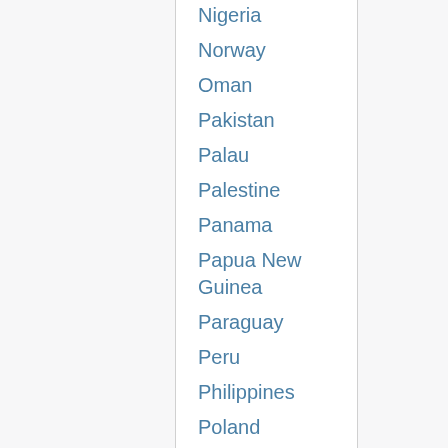Nigeria
Norway
Oman
Pakistan
Palau
Palestine
Panama
Papua New Guinea
Paraguay
Peru
Philippines
Poland
Portugal
Puerto Rico
Qatar
Romania
Russia
Saint Lucia
Saint Vincent
San Marino
Sao Tome